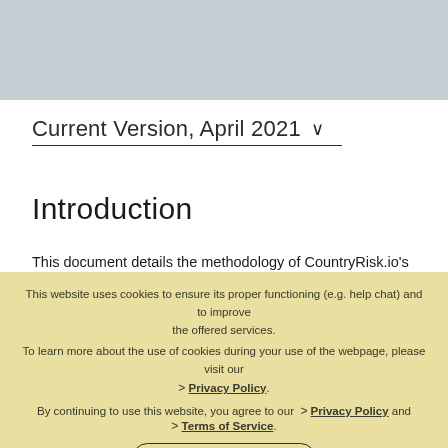[Figure (screenshot): Top grey banner area of a website]
Current Version, April 2021 ∨
Introduction
This document details the methodology of CountryRisk.io's framework for determining the Shadow Rating. Norms for different rating...
This website uses cookies to ensure its proper functioning (e.g. help chat) and to improve the offered services. To learn more about the use of cookies during your use of the webpage, please visit our > Privacy Policy.
By continuing to use this website, you agree to our > Privacy Policy and > Terms of Service.
Accept